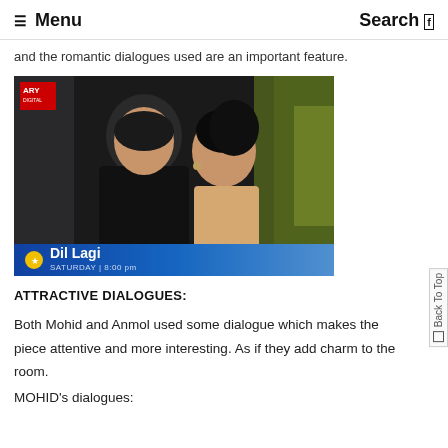☰ Menu  Search
and the romantic dialogues used are an important feature.
[Figure (photo): A still from the Pakistani drama 'Dil Lagi' on ARY Digital showing a man and woman in a close face-to-face scene, with the show title 'Dil Lagi' and 'SATURDAY | 8:00 pm' overlaid at the bottom on a blue banner.]
ATTRACTIVE DIALOGUES:
Both Mohid and Anmol used some dialogue which makes the piece attentive and more interesting. As if they add charm to the room.
MOHID's dialogues: